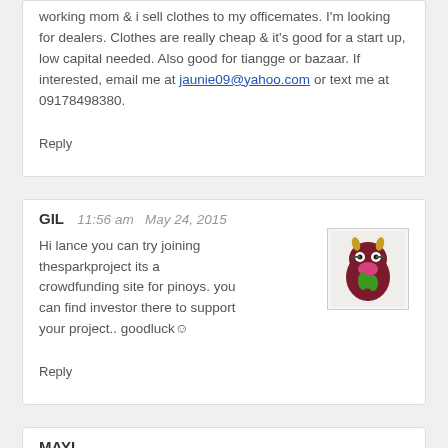working mom & i sell clothes to my officemates. I'm looking for dealers. Clothes are really cheap & it's good for a start up, low capital needed. Also good for tiangge or bazaar. If interested, email me at jaunie09@yahoo.com or text me at 09178498380.
Reply
GIL   11:56 am  May 24, 2015
Hi lance you can try joining thesparkproject its a crowdfunding site for pinoys. you can find investor there to support your project.. goodluck☺
Reply
MAYI